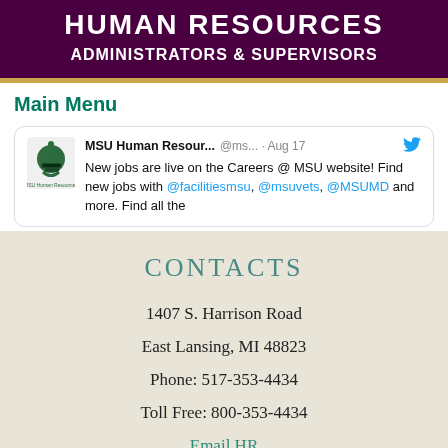HUMAN RESOURCES
ADMINISTRATORS & SUPERVISORS
Main Menu
[Figure (screenshot): MSU Human Resources Twitter/X tweet card showing MSU logo, tweet from @ms... dated Aug 17 about new jobs on Careers @ MSU website mentioning @facilitiesmsu, @msuvets, @MSUMD and more.]
CONTACTS
1407 S. Harrison Road
East Lansing, MI 48823
Phone: 517-353-4434
Toll Free: 800-353-4434
Email HR